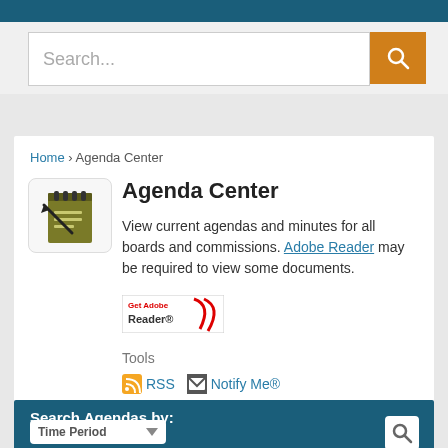[Figure (screenshot): Search bar with orange search button]
Home › Agenda Center
[Figure (logo): Agenda Center notepad icon]
Agenda Center
View current agendas and minutes for all boards and commissions. Adobe Reader may be required to view some documents.
[Figure (logo): Get Adobe Reader badge]
Tools
RSS  Notify Me®
Search Agendas by:
Time Period